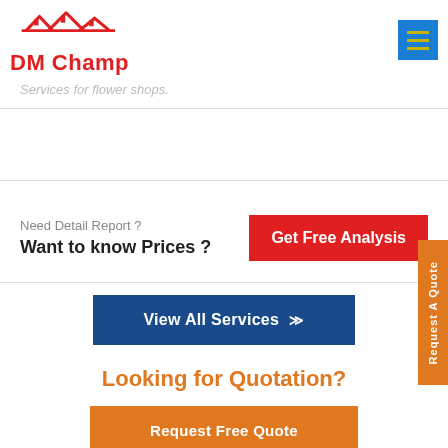[Figure (logo): DM Champ logo with house/roof icon in red and company name in red bold text]
Services for flower shops.
Need Detail Report ?
Want to know Prices ?
Get Free Analysis
View All Services
Looking for Quotation?
Request Free Quote
Request A Quote